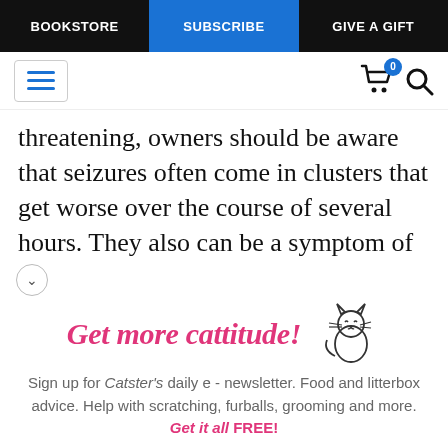BOOKSTORE | SUBSCRIBE | GIVE A GIFT
[Figure (screenshot): Website navigation bar with hamburger menu icon, shopping cart with badge showing 0, and search icon]
threatening, owners should be aware that seizures often come in clusters that get worse over the course of several hours. They also can be a symptom of
[Figure (infographic): Newsletter signup promotion with 'Get more cattitude!' heading in pink cursive with cat illustration]
Sign up for Catster's daily e - newsletter. Food and litterbox advice. Help with scratching, furballs, grooming and more. Get it all FREE!
Enter your Email
YES! SIGN ME UP